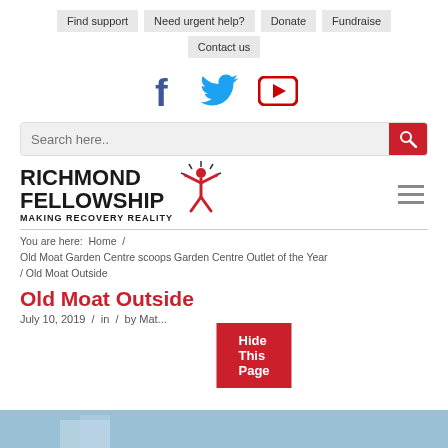Find support | Need urgent help? | Donate | Fundraise | Contact us
[Figure (illustration): Social media icons: Facebook (blue f), Twitter (blue bird), YouTube (red play button)]
[Figure (infographic): Search bar with placeholder 'Search here..' and a red search button with magnifying glass icon]
[Figure (logo): Richmond Fellowship logo with red figure raising arms and text 'RICHMOND FELLOWSHIP MAKING RECOVERY REALITY']
You are here: Home / Old Moat Garden Centre scoops Garden Centre Outlet of the Year / Old Moat Outside
Old Moat Outside
July 10, 2019 / in / by Matt